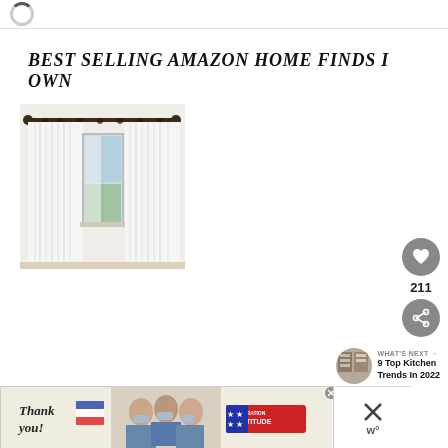BEST SELLING AMAZON HOME FINDS I OWN
[Figure (photo): White linen curtains on a dark curtain rod over a window, showing a garden view through white sheer panels]
[Figure (infographic): Like/heart button (gray circle with heart icon), count of 211, and share button (gray circle with share icon) on the right side]
[Figure (infographic): What's Next arrow with thumbnail of kitchen shelves and text: 9 Top Kitchen Trends In 2022]
[Figure (photo): Advertisement banner: Thank you with patriotic pencil illustration, medical workers photo, Operation Gratitude logo, and X close button plus Worthpoint logo]